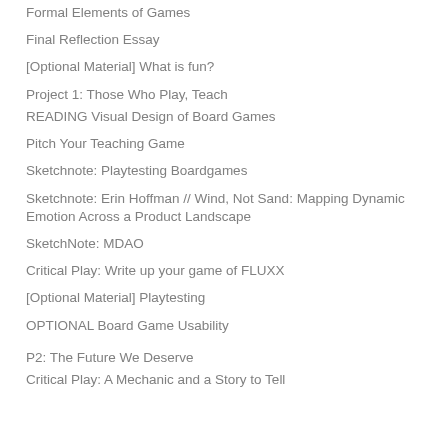Formal Elements of Games
Final Reflection Essay
[Optional Material] What is fun?
Project 1: Those Who Play, Teach
READING Visual Design of Board Games
Pitch Your Teaching Game
Sketchnote: Playtesting Boardgames
Sketchnote: Erin Hoffman // Wind, Not Sand: Mapping Dynamic Emotion Across a Product Landscape
SketchNote: MDAO
Critical Play: Write up your game of FLUXX
[Optional Material] Playtesting
OPTIONAL Board Game Usability
P2: The Future We Deserve
Critical Play: A Mechanic and a Story to Tell